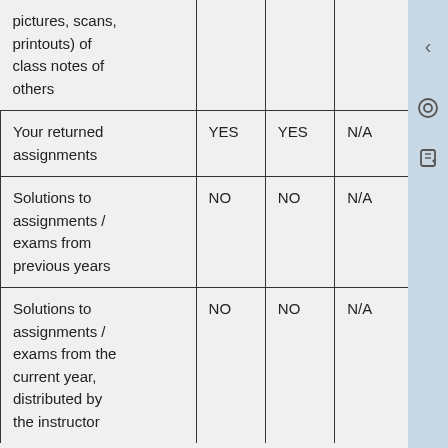|  |  |  |  |
| --- | --- | --- | --- |
| pictures, scans, printouts) of class notes of others |  |  |  |
| Your returned assignments | YES | YES | N/A |
| Solutions to assignments / exams from previous years | NO | NO | N/A |
| Solutions to assignments / exams from the current year, distributed by the instructor | NO | NO | N/A |